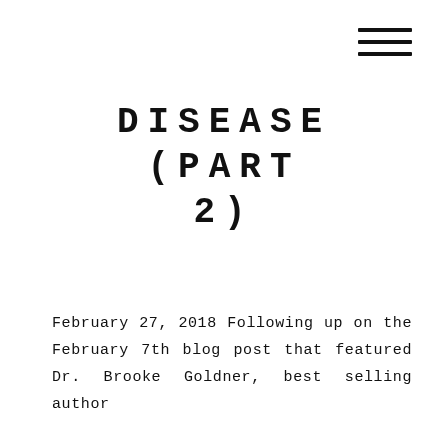[Figure (other): Hamburger menu icon with three horizontal lines in top-right corner]
DISEASE (PART 2)
February 27, 2018 Following up on the February 7th blog post that featured Dr. Brooke Goldner, best selling author